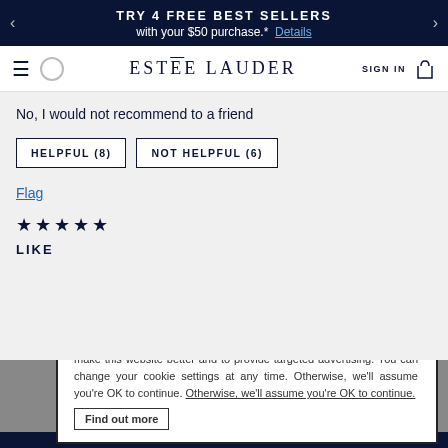TRY 4 FREE BEST SELLERS with your $50 purchase.* Details
[Figure (screenshot): Estee Lauder website navigation bar with hamburger menu, search icon, logo, sign in, and bag icon]
No, I would not recommend to a friend
HELPFUL (8)    NOT HELPFUL (6)
Flag
★★★★★
LIKE
We and our partners may place cookies on your computer to help make this website better and to provide targeted advertising. You can change your cookie settings at any time. Otherwise, we'll assume you're OK to continue. Find out more